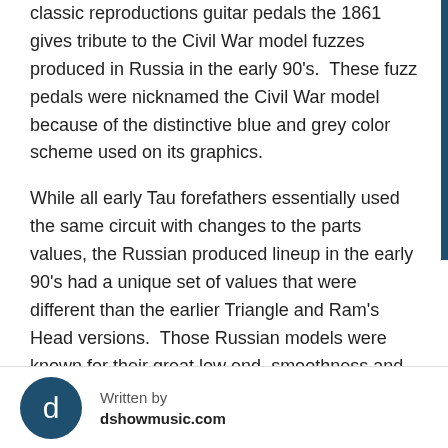classic reproductions guitar pedals the 1861 gives tribute to the Civil War model fuzzes produced in Russia in the early 90's.  These fuzz pedals were nicknamed the Civil War model because of the distinctive blue and grey color scheme used on its graphics.
While all early Tau forefathers essentially used the same circuit with changes to the parts values, the Russian produced lineup in the early 90's had a unique set of values that were different than the earlier Triangle and Ram's Head versions.  Those Russian models were known for their great low end, smoothness and
Written by
dshowmusic.com